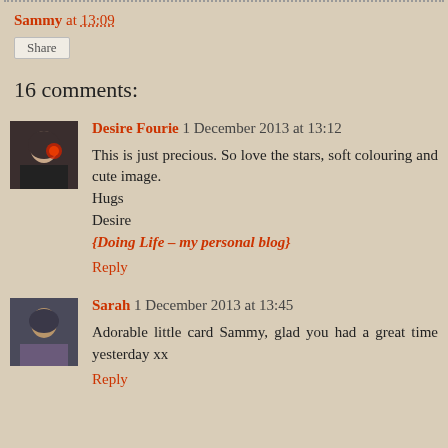Sammy at 13:09
Share
16 comments:
Desire Fourie 1 December 2013 at 13:12
This is just precious. So love the stars, soft colouring and cute image.
Hugs
Desire
{Doing Life – my personal blog}
Reply
Sarah 1 December 2013 at 13:45
Adorable little card Sammy, glad you had a great time yesterday xx
Reply